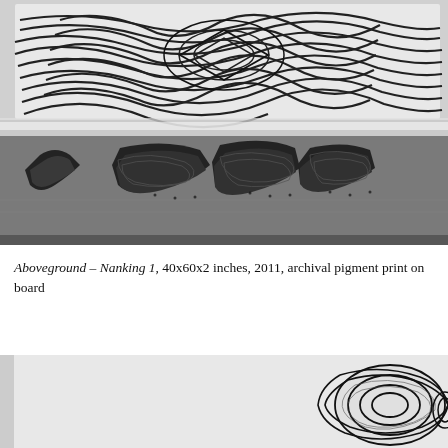[Figure (photo): Close-up photograph of an abstract artwork showing intricate black and white swirling topographic-like lines in the upper half, and dark black sculptural letter forms with grey tones in the lower half, against a grey background.]
Aboveground – Nanking 1, 40x60x2 inches, 2011, archival pigment print on board
[Figure (photo): Partial photograph showing the bottom portion of a second artwork: white background with black and white swirling topographic patterns forming sculptural shapes, visible in the lower portion of the page.]